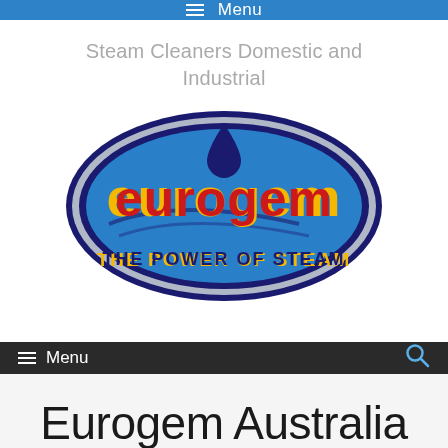≡ Menu
Steam Cleaners Domestic and Industrial
[Figure (logo): Eurogem logo — oval shape with dark navy border, blue fill, red and yellow 'eurogem' text in the center, a dark blue water droplet above, swoosh lines, and 'THE POWER OF STEAM' text below in dark navy bold capitals.]
≡ Menu
Eurogem Australia